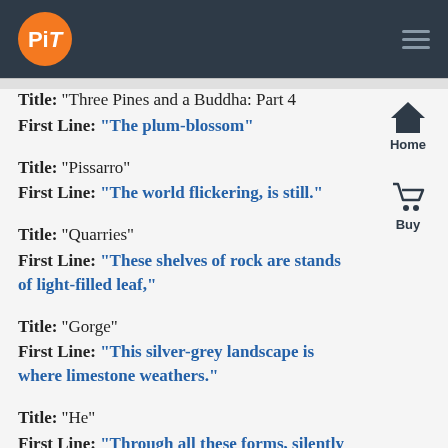PiT logo and navigation header
Title: "Three Pines and a Buddha: Part 4"
First Line: "The plum-blossom"
Title: "Pissarro"
First Line: "The world flickering, is still."
Title: "Quarries"
First Line: "These shelves of rock are stands of light-filled leaf,"
Title: "Gorge"
First Line: "This silver-grey landscape is where limestone weathers."
Title: "He"
First Line: "Through all these forms, silently he plays,"
Title: "How To"